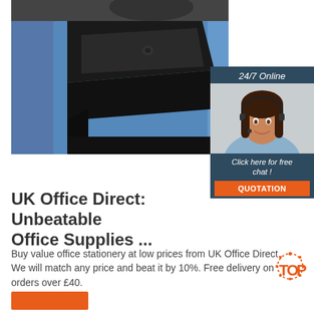[Figure (photo): Product photo showing a black plastic tray/drawer on a blue cabinet or trolley, photographed from above/side angle]
[Figure (photo): Chat widget showing a woman with headset smiling, labeled 24/7 Online with Click here for free chat and QUOTATION button]
UK Office Direct: Unbeatable Office Supplies ...
Buy value office stationery at low prices from UK Office Direct. We will match any price and beat it by 10%. Free delivery on orders over £40.
[Figure (logo): TOP logo with orange dotted circle and orange text]